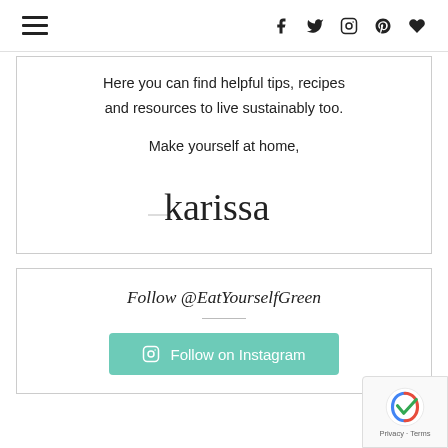Navigation menu and social icons (Facebook, Twitter, Instagram, Pinterest, Heart)
Here you can find helpful tips, recipes and resources to live sustainably too.
Make yourself at home,
[Figure (illustration): Handwritten cursive signature reading 'karissa']
Follow @EatYourselfGreen
[Figure (other): Follow on Instagram button with Instagram icon, teal/mint green color]